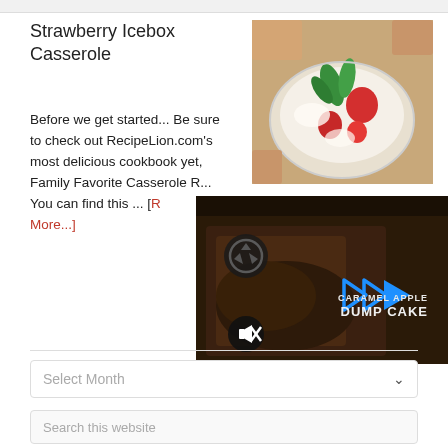Strawberry Icebox Casserole
Before we get started... Be sure to check out RecipeLion.com's most delicious cookbook yet, Family Favorite Casserole R... You can find this ... [Read More...]
[Figure (photo): Photo of strawberry icebox casserole dessert in a white bowl with strawberries and mint leaves]
[Figure (screenshot): Video player overlay showing Caramel Apple Dump Cake video with play button controls and mute button]
[Figure (other): Select Month dropdown]
[Figure (other): Search this website input box]